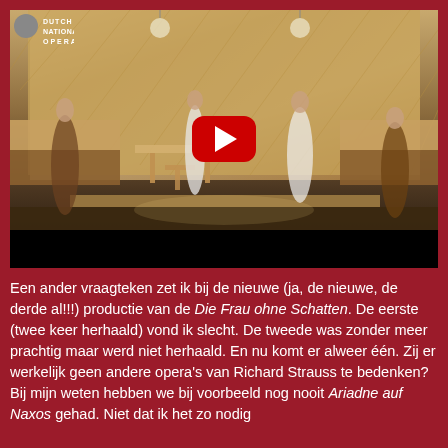[Figure (photo): Opera stage scene with four performers in a modern kitchen set. YouTube play button overlay visible in the center. Deutsche Oper logo in top left corner. Black bar at bottom of image.]
Een ander vraagteken zet ik bij de nieuwe (ja, de nieuwe, de derde al!!!) productie van de Die Frau ohne Schatten. De eerste (twee keer herhaald) vond ik slecht. De tweede was zonder meer prachtig maar werd niet herhaald. En nu komt er alweer één. Zij er werkelijk geen andere opera's van Richard Strauss te bedenken? Bij mijn weten hebben we bij voorbeeld nog nooit Ariadne auf Naxos gehad. Niet dat ik het zo nodig